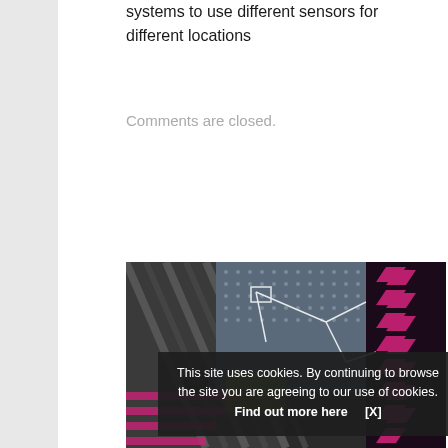systems to use different sensors for different locations
Comments are closed.
[Figure (photo): A collage/composite photo showing various sensor or electronic components with patterned textures in black, white, pink/magenta, and yellow-green colors, with geometric shapes and circuit-like structures overlaid.]
This site uses cookies. By continuing to browse the site you are agreeing to our use of cookies. Find out more here    [X]